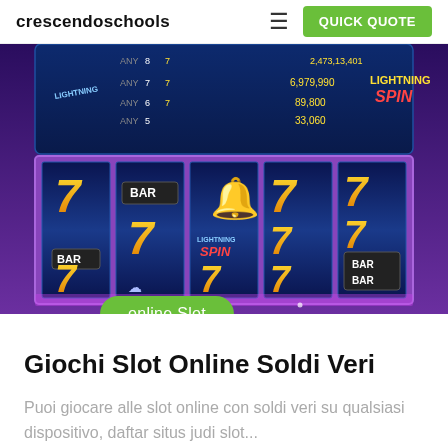crescendoschools  QUICK QUOTE
[Figure (screenshot): Screenshot of a slot machine game showing reels with 7s, BARs, bells, and a Lightning Spin feature with pay table at the top showing ANY 7 combinations and payouts like 6,979,990 and 89,800]
online Slot
Giochi Slot Online Soldi Veri
Puoi giocare alle slot online con soldi veri su qualsiasi dispositivo, daftar situs judi slot...